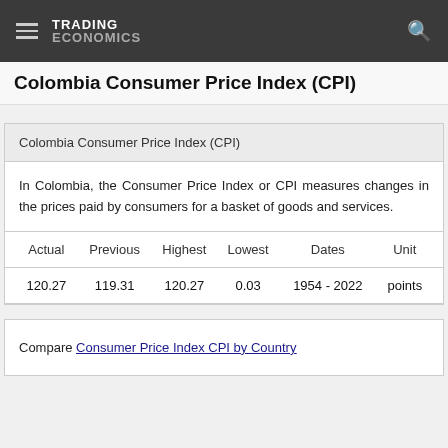TRADING ECONOMICS
Colombia Consumer Price Index (CPI)
Colombia Consumer Price Index (CPI)
In Colombia, the Consumer Price Index or CPI measures changes in the prices paid by consumers for a basket of goods and services.
| Actual | Previous | Highest | Lowest | Dates | Unit |
| --- | --- | --- | --- | --- | --- |
| 120.27 | 119.31 | 120.27 | 0.03 | 1954 - 2022 | points |
Compare Consumer Price Index CPI by Country